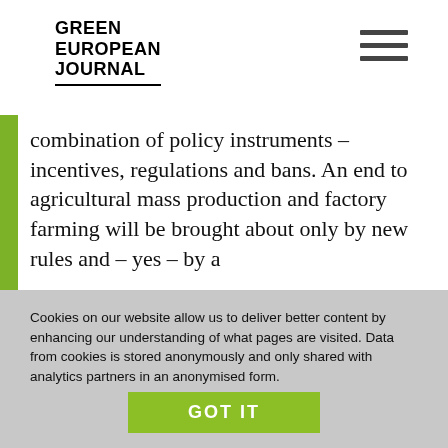GREEN EUROPEAN JOURNAL
combination of policy instruments – incentives, regulations and bans. An end to agricultural mass production and factory farming will be brought about only by new rules and – yes – by a
Cookies on our website allow us to deliver better content by enhancing our understanding of what pages are visited. Data from cookies is stored anonymously and only shared with analytics partners in an anonymised form.

Find out more about our use of cookies in our privacy policy.
GOT IT